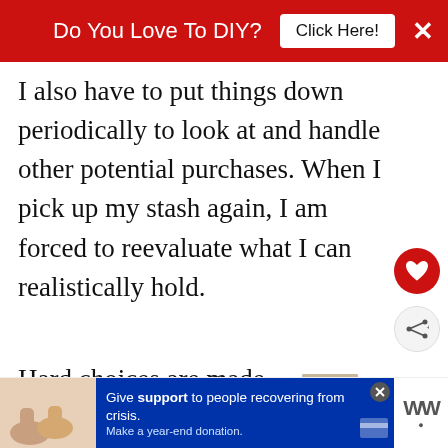Do You Love To DIY? Click Here!
I also have to put things down periodically to look at and handle other potential purchases. When I pick up my stash again, I am forced to reevaluate what I can realistically hold.
Hard choices are made.
It's survival of the fittest.
[Figure (screenshot): Advertisement banner: Give support to people recovering from crisis. Make a year-end donation.]